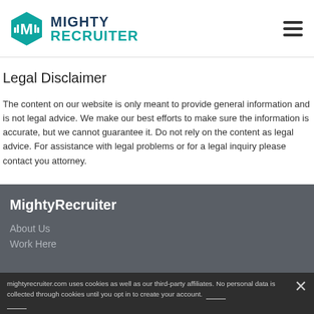MightyRecruiter logo and navigation
Legal Disclaimer
The content on our website is only meant to provide general information and is not legal advice. We make our best efforts to make sure the information is accurate, but we cannot guarantee it. Do not rely on the content as legal advice. For assistance with legal problems or for a legal inquiry please contact you attorney.
MightyRecruiter
About Us
Work Here
mightyrecruiter.com uses cookies as well as our third-party affiliates. No personal data is collected through cookies until you opt in to create your account.